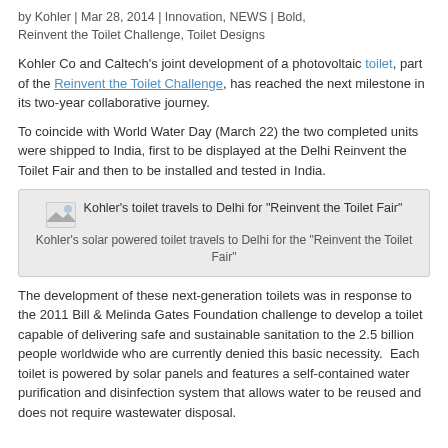by Kohler | Mar 28, 2014 | Innovation, NEWS | Bold, Reinvent the Toilet Challenge, Toilet Designs
Kohler Co and Caltech's joint development of a photovoltaic toilet, part of the Reinvent the Toilet Challenge, has reached the next milestone in its two-year collaborative journey.
To coincide with World Water Day (March 22) the two completed units were shipped to India, first to be displayed at the Delhi Reinvent the Toilet Fair and then to be installed and tested in India.
[Figure (illustration): Image placeholder icon for article image with title: Kohler's toilet travels to Delhi for "Reinvent the Toilet Fair" and caption: Kohler's solar powered toilet travels to Delhi for the "Reinvent the Toilet Fair"]
The development of these next-generation toilets was in response to the 2011 Bill & Melinda Gates Foundation challenge to develop a toilet capable of delivering safe and sustainable sanitation to the 2.5 billion people worldwide who are currently denied this basic necessity.  Each toilet is powered by solar panels and features a self-contained water purification and disinfection system that allows water to be reused and does not require wastewater disposal.